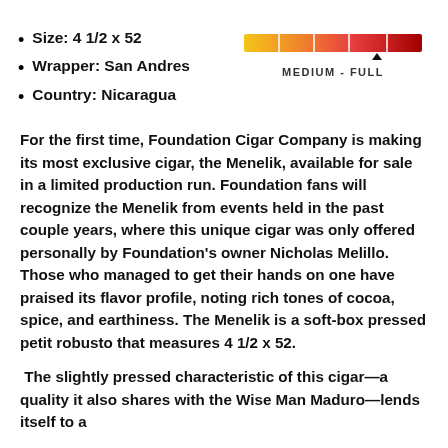Size: 4 1/2 x 52
Wrapper: San Andres
Country: Nicaragua
[Figure (infographic): Horizontal gradient bar from yellow-orange to deep red, with a black triangle marker positioned at roughly 75% (medium-full body rating). Label below reads MEDIUM - FULL.]
For the first time, Foundation Cigar Company is making its most exclusive cigar, the Menelik, available for sale in a limited production run. Foundation fans will recognize the Menelik from events held in the past couple years, where this unique cigar was only offered personally by Foundation's owner Nicholas Melillo. Those who managed to get their hands on one have praised its flavor profile, noting rich tones of cocoa, spice, and earthiness. The Menelik is a soft-box pressed petit robusto that measures 4 1/2 x 52.
The slightly pressed characteristic of this cigar—a quality it also shares with the Wise Man Maduro—lends itself to a